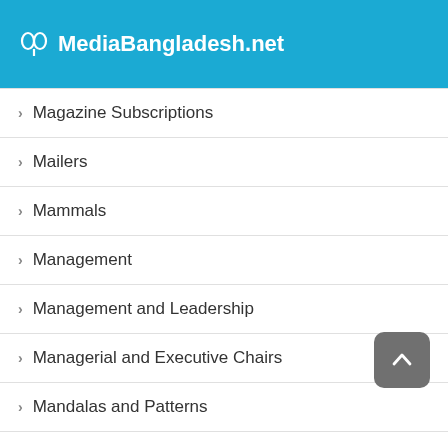MediaBangladesh.net
Magazine Subscriptions
Mailers
Mammals
Management
Management and Leadership
Managerial and Executive Chairs
Mandalas and Patterns
Mandrels
Manga
Manners